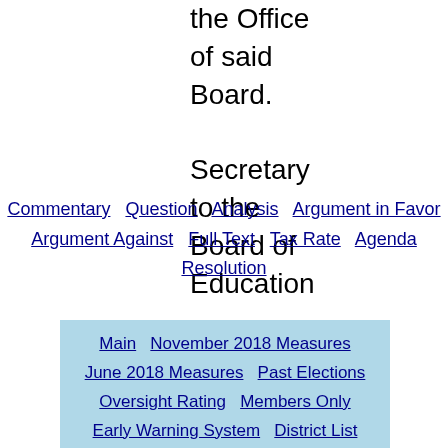the Office of said Board.

Secretary to the Board of Education
Commentary | Question | Analysis | Argument in Favor | Argument Against | Full Text | Tax Rate | Agenda | Resolution
Main | November 2018 Measures | June 2018 Measures | Past Elections | Oversight Rating | Members Only | Early Warning System | District List | Bond News | Public Plan | Coaching | Sign Up | Library | Press | About